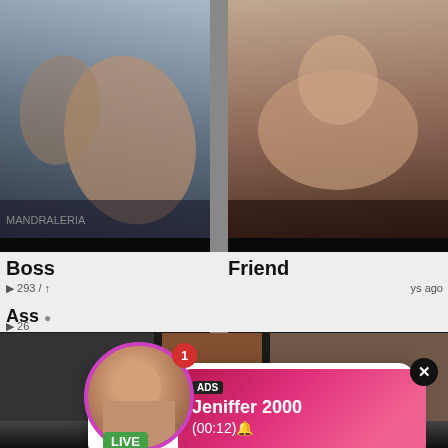[Figure (screenshot): Video thumbnail top-left showing two people close together, dark cinematic style]
[Figure (screenshot): Video thumbnail top-right showing a woman lying down, dark cinematic style]
Boss
Friend
▶ 293 / ↑
ys ago
[Figure (screenshot): Middle-left dark video thumbnail]
[Figure (screenshot): Middle-center video thumbnail with warm tones]
[Figure (screenshot): Middle-right video thumbnail]
Ass
▶ 26
[Figure (infographic): Live notification popup: circular avatar with pink border, red badge showing 1, LIVE green badge, pink gradient bubble with ADS label, Jeniffer 2000 name, (00:12) timer, black X close button]
[Figure (infographic): Missed call notification popup: green phone circle icon, ADS label, '(1)Missed Call from Eliza', 'pleeease call me back.. I miss you!', audio player with progress bar, timestamps 0:00 and 3:23, playback controls (rewind, play, fast-forward)]
[Figure (screenshot): Bottom video thumbnail strip]